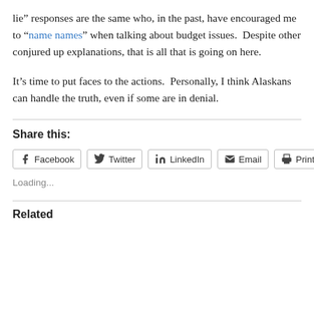lie” responses are the same who, in the past, have encouraged me to “name names” when talking about budget issues.  Despite other conjured up explanations, that is all that is going on here.
It’s time to put faces to the actions.  Personally, I think Alaskans can handle the truth, even if some are in denial.
Share this:
Facebook  Twitter  LinkedIn  Email  Print
Loading...
Related